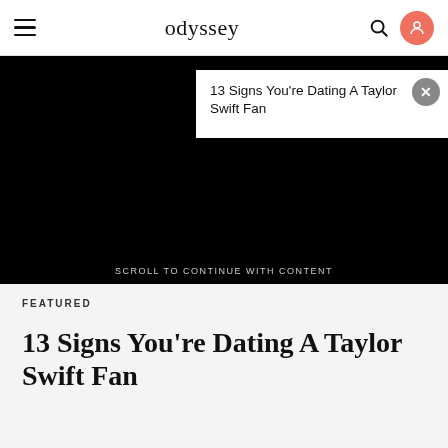odyssey
[Figure (screenshot): Black image area used as article hero image background]
13 Signs You're Dating A Taylor Swift Fan
SCROLL TO CONTINUE WITH CONTENT
FEATURED
13 Signs You're Dating A Taylor Swift Fan